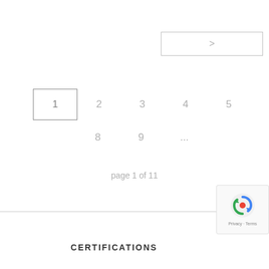[Figure (other): Next page navigation button with right arrow (>)]
1  2  3  4  5  6  7  8  9  ...
page 1 of 11
CERTIFICATIONS